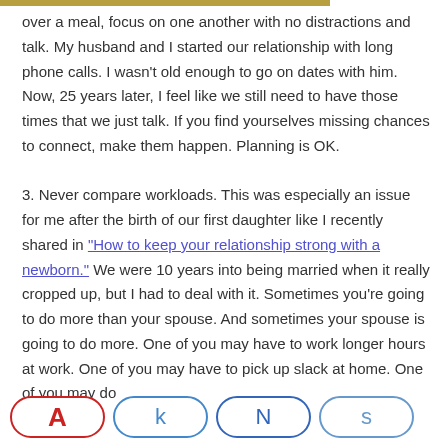over a meal, focus on one another with no distractions and talk. My husband and I started our relationship with long phone calls. I wasn't old enough to go on dates with him. Now, 25 years later, I feel like we still need to have those times that we just talk. If you find yourselves missing chances to connect, make them happen. Planning is OK.

3. Never compare workloads. This was especially an issue for me after the birth of our first daughter like I recently shared in "How to keep your relationship strong with a newborn." We were 10 years into being married when it really cropped up, but I had to deal with it. Sometimes you're going to do more than your spouse. And sometimes your spouse is going to do more. One of you may have to work longer hours at work. One of you may have to pick up slack at home. One of you may do